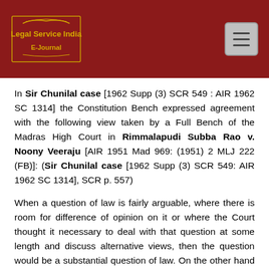[Figure (logo): Legal Service India E-Journal logo with golden text on dark red background, with a hamburger menu button on the right]
In Sir Chunilal case [1962 Supp (3) SCR 549 : AIR 1962 SC 1314] the Constitution Bench expressed agreement with the following view taken by a Full Bench of the Madras High Court in Rimmalapudi Subba Rao v. Noony Veeraju [AIR 1951 Mad 969: (1951) 2 MLJ 222 (FB)]: (Sir Chunilal case [1962 Supp (3) SCR 549: AIR 1962 SC 1314], SCR p. 557)
When a question of law is fairly arguable, where there is room for difference of opinion on it or where the Court thought it necessary to deal with that question at some length and discuss alternative views, then the question would be a substantial question of law. On the other hand if the question was practically covered by the decision of the highest court or if the general principles to be applied in determining the question are well settled and the only question was of applying those principles to the particular fact of the case it would not be a substantial question of